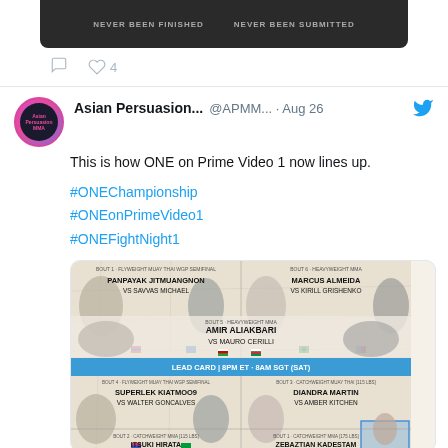[Figure (screenshot): Bottom of a tweet showing a dark banner image with text 'NEVER BEEN FINISHED' and 'NEVER BEEN SUBMITTED', with comment and 4 likes icons below]
Asian Persuasion... @APMM... · Aug 26
This is how ONE on Prime Video 1 now lines up.
#ONEChampionship
#ONEonPrimeVideo1
#ONEFightNight1
[Figure (infographic): ONE Championship fight card for ONE on Prime Video 1 showing multiple bouts: Panpayak Jitmuangnon vs Savvas Michael (Flyweight Muay Thai WGP Semifinal), Marcus Almeida vs Kirill Grishenko (Heavyweight MMA), Amir Aliakbari vs Mauro Cerilli (Heavyweight MMA), Lead Card 8PM ET / 8AM SGT (SAT), Superlek Kiatmoo9 vs Walter Goncalves (Flyweight Muay Thai WGP Semifinal), Diandra Martin vs Amber Kitchen (Catchweight Muay Thai), Itsuki Hirata (Catchweight MMA 115 lbs), Zebaztian Kadestam (Catchweight MMA 175 lbs)]